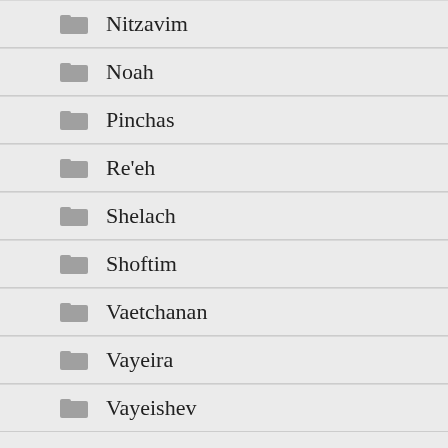Nitzavim
Noah
Pinchas
Re'eh
Shelach
Shoftim
Vaetchanan
Vayeira
Vayeishev